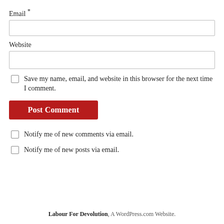Email *
Website
Save my name, email, and website in this browser for the next time I comment.
Post Comment
Notify me of new comments via email.
Notify me of new posts via email.
Labour For Devolution, A WordPress.com Website.